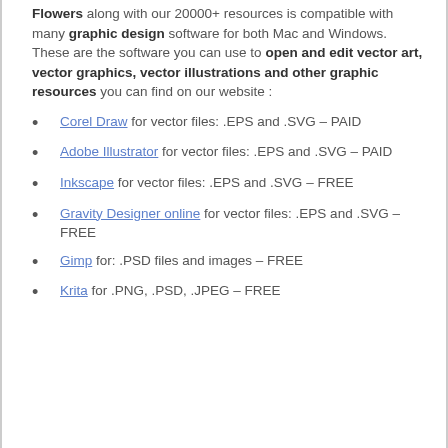Flowers along with our 20000+ resources is compatible with many graphic design software for both Mac and Windows. These are the software you can use to open and edit vector art, vector graphics, vector illustrations and other graphic resources you can find on our website :
Corel Draw for vector files: .EPS and .SVG – PAID
Adobe Illustrator for vector files: .EPS and .SVG – PAID
Inkscape for vector files: .EPS and .SVG – FREE
Gravity Designer online for vector files: .EPS and .SVG – FREE
Gimp for: .PSD files and images – FREE
Krita for .PNG, .PSD, .JPEG – FREE